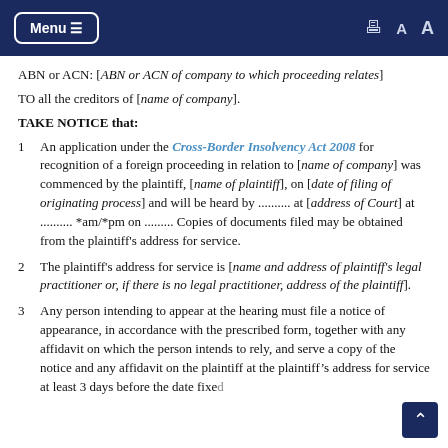Menu ☰  [print icon] A A
ABN or ACN: [ABN or ACN of company to which proceeding relates]
TO all the creditors of [name of company].
TAKE NOTICE that:
1  An application under the Cross-Border Insolvency Act 2008 for recognition of a foreign proceeding in relation to [name of company] was commenced by the plaintiff, [name of plaintiff], on [date of filing of originating process] and will be heard by .......... at [address of Court] at .......... *am/*pm on ......... Copies of documents filed may be obtained from the plaintiff's address for service.
2  The plaintiff's address for service is [name and address of plaintiff's legal practitioner or, if there is no legal practitioner, address of the plaintiff].
3  Any person intending to appear at the hearing must file a notice of appearance, in accordance with the prescribed form, together with any affidavit on which the person intends to rely, and serve a copy of the notice and any affidavit on the plaintiff at the plaintiff's address for service at least 3 days before the date fixed...